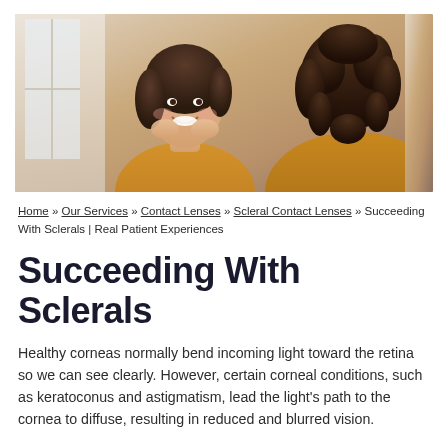[Figure (photo): Two young women smiling and talking to each other, one facing the camera with a big smile resting her chin on her hands, the other seen from behind with curly hair, both wearing orange/mustard tops, indoor setting with window light]
Home » Our Services » Contact Lenses » Scleral Contact Lenses » Succeeding With Sclerals | Real Patient Experiences
Succeeding With Sclerals
Healthy corneas normally bend incoming light toward the retina so we can see clearly. However, certain corneal conditions, such as keratoconus and astigmatism, lead the light's path to the cornea to diffuse, resulting in reduced and blurred vision.